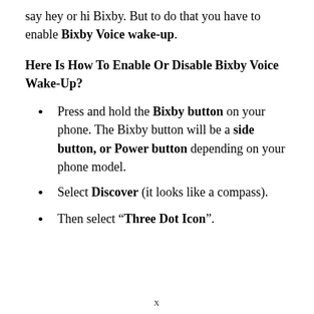say hey or hi Bixby. But to do that you have to enable Bixby Voice wake-up.
Here Is How To Enable Or Disable Bixby Voice Wake-Up?
Press and hold the Bixby button on your phone. The Bixby button will be a side button, or Power button depending on your phone model.
Select Discover (it looks like a compass).
Then select “Three Dot Icon”.
x